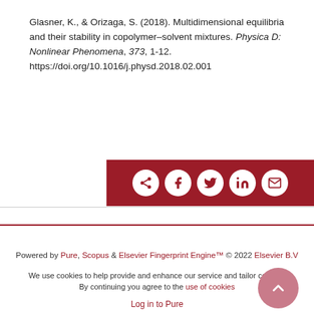Glasner, K., & Orizaga, S. (2018). Multidimensional equilibria and their stability in copolymer–solvent mixtures. Physica D: Nonlinear Phenomena, 373, 1-12. https://doi.org/10.1016/j.physd.2018.02.001
[Figure (other): Dark red share button bar with icons for share, Facebook, Twitter, LinkedIn, and email (envelope)]
Powered by Pure, Scopus & Elsevier Fingerprint Engine™ © 2022 Elsevier B.V
We use cookies to help provide and enhance our service and tailor content. By continuing you agree to the use of cookies
Log in to Pure
About web accessibility
Contact us